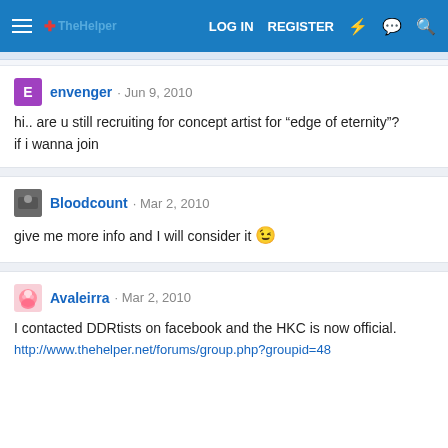LOG IN  REGISTER
envenger · Jun 9, 2010
hi.. are u still recruiting for concept artist for "edge of eternity"? if i wanna join
Bloodcount · Mar 2, 2010
give me more info and I will consider it 😉
Avaleirra · Mar 2, 2010
I contacted DDRtists on facebook and the HKC is now official.
http://www.thehelper.net/forums/group.php?groupid=48